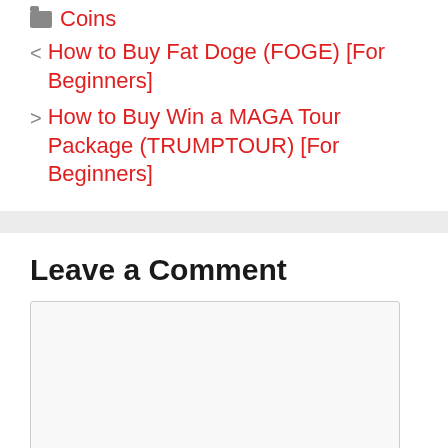Coins
< How to Buy Fat Doge (FOGE) [For Beginners]
> How to Buy Win a MAGA Tour Package (TRUMPTOUR) [For Beginners]
Leave a Comment